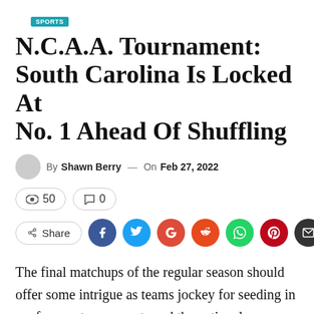SPORTS
N.C.A.A. Tournament: South Carolina Is Locked At No. 1 Ahead Of Shuffling
By Shawn Berry — On Feb 27, 2022
👁 50   💬 0
Share (social icons: Facebook, Twitter, Google, Reddit, WhatsApp, Pinterest, Email)
The final matchups of the regular season should offer some intrigue as teams jockey for seeding in conference tournaments and the national tournament.